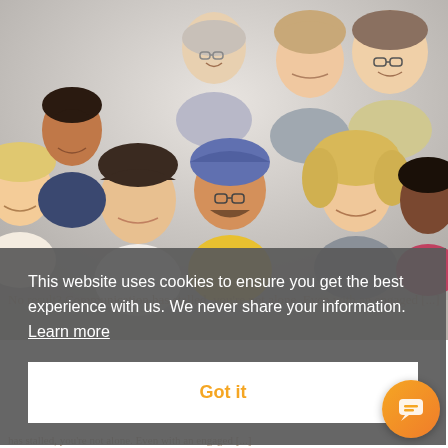[Figure (photo): Group photo of diverse smiling people of various ages and ethnicities against a light gray background]
This website uses cookies to ensure you get the best experience with us. We never share your information.  Learn more
Got it
has stalled, you're not alone. Even with an engaged [...]